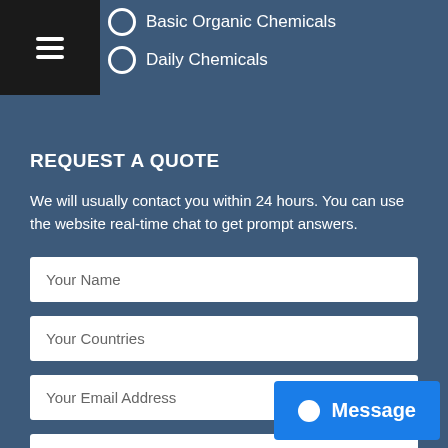[Figure (screenshot): Hamburger menu icon (three horizontal lines) on dark background]
Basic Organic Chemicals
Daily Chemicals
REQUEST A QUOTE
We will usually contact you within 24 hours. You can use the website real-time chat to get prompt answers.
Your Name
Your Countries
Your Email Address
Ask us any questions...
Message